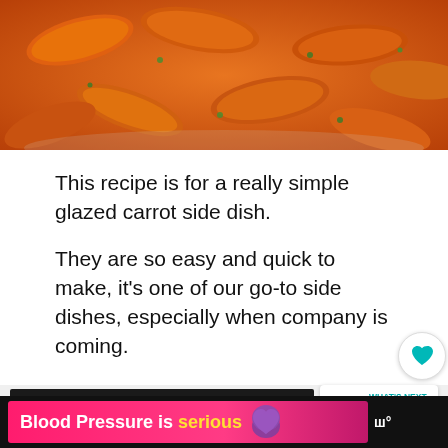[Figure (photo): Bowl of glazed baby carrots garnished with fresh herbs, orange-red color, close-up overhead shot]
This recipe is for a really simple glazed carrot side dish.
They are so easy and quick to make, it's one of our go-to side dishes, especially when company is coming.
[Figure (other): SHE CAN STEM advertisement banner in dark background with bold gray text]
[Figure (other): WHAT'S NEXT -> Melting Potatoes thumbnail card]
[Figure (other): Blood Pressure is serious advertisement with purple heart icon on pink/red background]